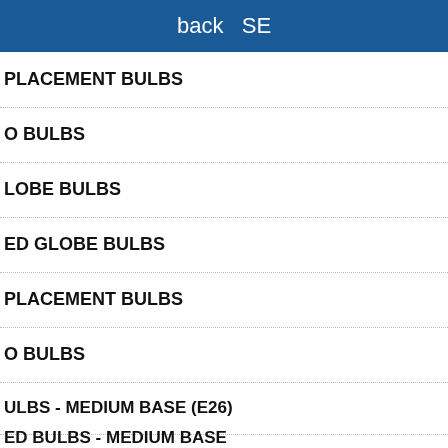back SE
PLACEMENT BULBS
O BULBS
LOBE BULBS
ED GLOBE BULBS
PLACEMENT BULBS
O BULBS
ULBS - MEDIUM BASE (E26)
ED BULBS - MEDIUM BASE
cement
95
100 FEET 12"
Accept and Close ×
irtising. Click on this page to allow e or opt out of this AdRoll tracking